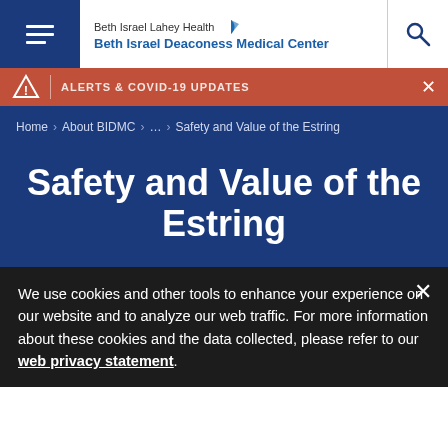Beth Israel Lahey Health Beth Israel Deaconess Medical Center
ALERTS & COVID-19 UPDATES
Home > About BIDMC > ... > Safety and Value of the Estring
Safety and Value of the Estring
We use cookies and other tools to enhance your experience on our website and to analyze our web traffic. For more information about these cookies and the data collected, please refer to our web privacy statement.